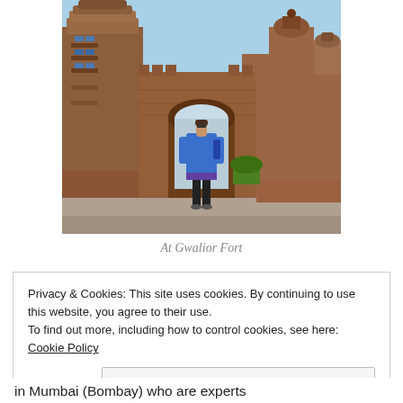[Figure (photo): A woman in a blue kurta standing in front of the ornate red sandstone Gwalior Fort, with towers and domes visible against a blue sky.]
At Gwalior Fort
Privacy & Cookies: This site uses cookies. By continuing to use this website, you agree to their use.
To find out more, including how to control cookies, see here: Cookie Policy
Close and accept
in Mumbai (Bombay) who are experts